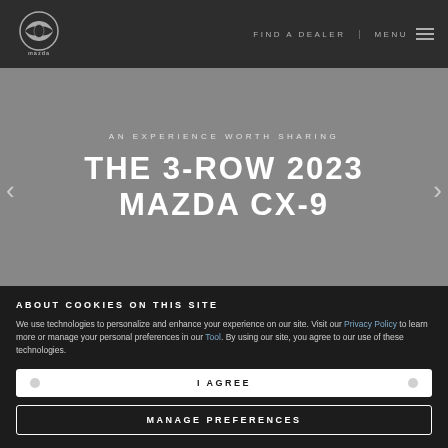FIND A DEALER | MENU
[Figure (logo): Mazda logo - circular wing emblem with MAZDA text below]
AN EXPERIENCE WORTH SHARING
THE 3-ROW 2023 MAZDA CX-9
ABOUT COOKIES ON THIS SITE
We use technologies to personalize and enhance your experience on our site. Visit our Privacy Policy to learn more or manage your personal preferences in our Tool. By using our site, you agree to our use of these technologies.
I AGREE
MANAGE PREFERENCES